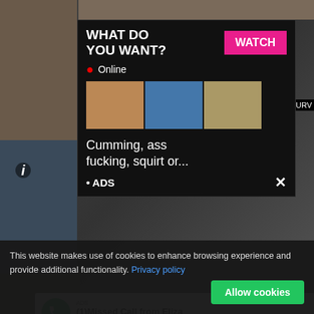[Figure (screenshot): Adult website screenshot with pornographic content in background]
[Figure (screenshot): Ad popup: WHAT DO YOU WANT? with WATCH button, Online indicator, thumbnail images, text 'Cumming, ass fucking, squirt or...' and ADS label with X close button]
[Figure (screenshot): Fake missed call ad popup: ADS label, '(1)Missed Call from Eliza', 'pleeease call me back.. I miss you!', audio player with progress bar showing 0:00 to 3:23, playback controls]
This website makes use of cookies to enhance browsing experience and provide additional functionality. Privacy policy
Allow cookies